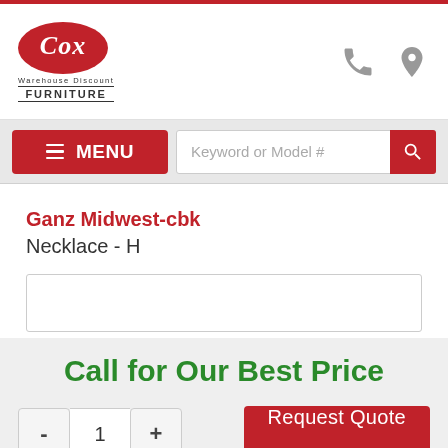[Figure (logo): Cox Warehouse Discount Furniture logo — red oval with Cox in white italic text, subtext 'Warehouse Discount' and 'FURNITURE' in black]
Keyword or Model #
MENU
Ganz Midwest-cbk
Necklace - H
Call for Our Best Price
1
Request Quote